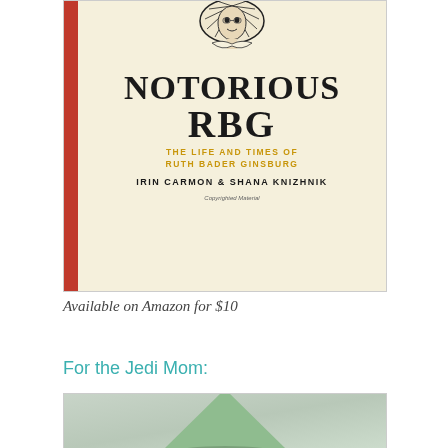[Figure (photo): Book cover of 'Notorious RBG: The Life and Times of Ruth Bader Ginsburg' by Irin Carmon and Shana Knizhnik. Cream/ivory background with red spine strip, stylized collar illustration at top, bold title text, gold subtitle text, black author names, and small 'Copyrighted Material' text at bottom.]
Available on Amazon for $10
For the Jedi Mom:
[Figure (photo): A green triangular/pyramidal object photographed against a light grey background.]